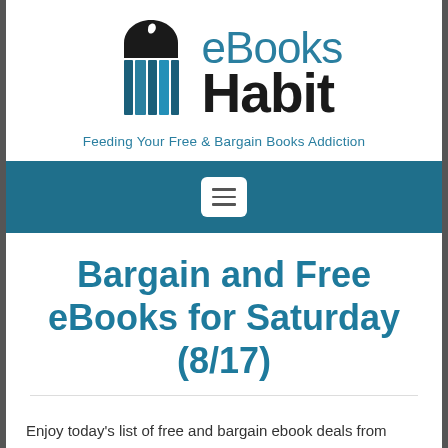[Figure (logo): eBooks Habit logo with stylized book stack icon and text 'eBooks Habit — Feeding Your Free & Bargain Books Addiction']
[Figure (screenshot): Navigation bar with hamburger menu button on teal/blue background]
Bargain and Free eBooks for Saturday (8/17)
Enjoy today's list of free and bargain ebook deals from